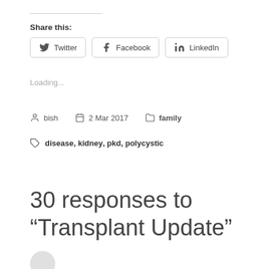Share this:
Twitter  Facebook  LinkedIn
Loading...
bish   2 Mar 2017   family
disease, kidney, pkd, polycystic
30 responses to “Transplant Update”